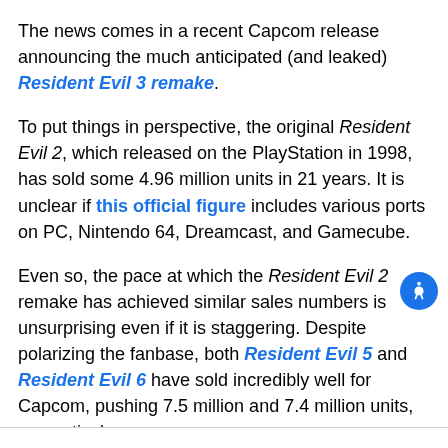The news comes in a recent Capcom release announcing the much anticipated (and leaked) Resident Evil 3 remake.
To put things in perspective, the original Resident Evil 2, which released on the PlayStation in 1998, has sold some 4.96 million units in 21 years. It is unclear if this official figure includes various ports on PC, Nintendo 64, Dreamcast, and Gamecube.
Even so, the pace at which the Resident Evil 2 remake has achieved similar sales numbers is unsurprising even if it is staggering. Despite polarizing the fanbase, both Resident Evil 5 and Resident Evil 6 have sold incredibly well for Capcom, pushing 7.5 million and 7.4 million units, respectively.